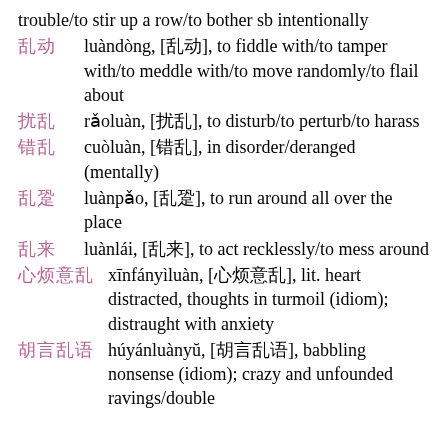trouble/to stir up a row/to bother sb intentionally
乱动　luàndòng, [乱动], to fiddle with/to tamper with/to meddle with/to move randomly/to flail about
扰乱　rǎoluàn, [扰乱], to disturb/to perturb/to harass
错乱　cuòluàn, [错乱], in disorder/deranged (mentally)
乱跑　luànpǎo, [乱跑], to run around all over the place
乱来　luànlái, [乱来], to act recklessly/to mess around
心烦意乱　xīnfányìluàn, [心烦意乱], lit. heart distracted, thoughts in turmoil (idiom); distraught with anxiety
胡言乱语　húyánluànyǔ, [胡言乱语], babbling nonsense (idiom); crazy and unfounded ravings/double